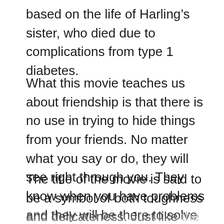based on the life of Harling's sister, who died due to complications from type 1 diabetes.
What this movie teaches us about friendship is that there is no use in trying to hide things from your friends. No matter what you say or do, they will see right through you. They know when you have problems and they will be there to solve them with you.
The title of the movie is said to be a symbol of both toughness and delicateness. Just like the characters in the movie, you and your friends...